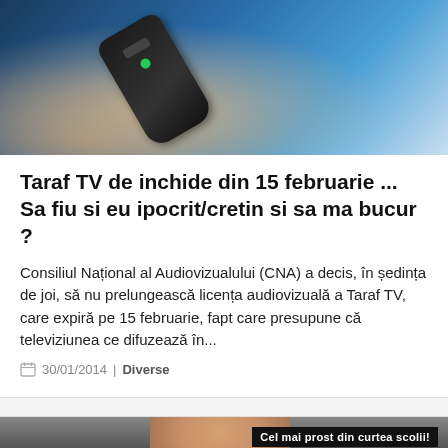[Figure (photo): Hand holding a TV remote control pointed at a television screen with blue light]
Taraf TV de inchide din 15 februarie ... Sa fiu si eu ipocrit/cretin si sa ma bucur ?
Consiliul Național al Audiovizualului (CNA) a decis, în ședința de joi, să nu prelungească licența audiovizuală a Taraf TV, care expiră pe 15 februarie, fapt care presupune că televiziunea ce difuzează în...
30/01/2014 | Diverse
[Figure (photo): Person with text overlay reading 'Cel mai prost din curtea scolii!']